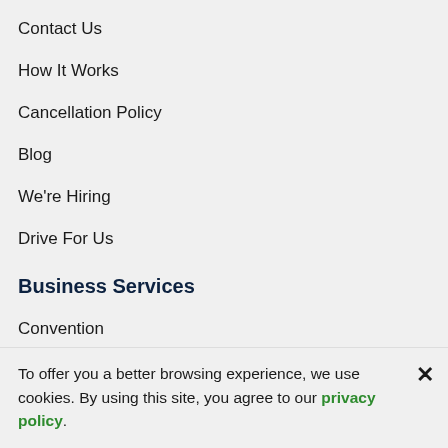Contact Us
How It Works
Cancellation Policy
Blog
We're Hiring
Drive For Us
Business Services
Convention
Travel Agents
To offer you a better browsing experience, we use cookies. By using this site, you agree to our privacy policy.